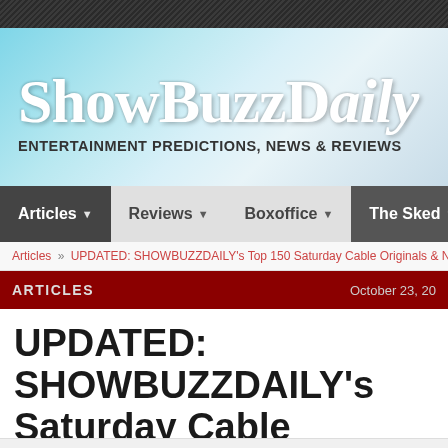ShowBuzzDaily — Entertainment Predictions, News & Reviews
Articles | Reviews | Boxoffice | The Sked
Articles » UPDATED: SHOWBUZZDAILY's Top 150 Saturday Cable Originals & Network
ARTICLES — October 23, 20...
UPDATED: SHOWBUZZDAILY's Saturday Cable Originals & Net... 10.20.2018